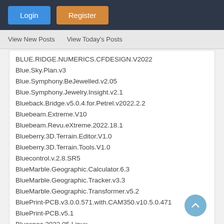Login | Register
View New Posts  View Today's Posts
BLUE.RIDGE.NUMERICS.CFDESIGN.V2022
Blue.Sky.Plan.v3
Blue.Symphony.BeJewelled.v2.05
Blue.Symphony.Jewelry.Insight.v2.1
Blueback.Bridge.v5.0.4.for.Petrel.v2022.2.2
Bluebeam.Extreme.V10
Bluebeam.Revu.eXtreme.2022.18.1
Blueberry.3D.Terrain.Editor.V1.0
Blueberry.3D.Terrain.Tools.V1.0
Bluecontrol.v.2.8.SR5
BlueMarble.Geographic.Calculator.6.3
BlueMarble.Geographic.Tracker.v3.3
BlueMarble.Geographic.Transformer.v5.2
BluePrint-PCB.v3.0.0.571.with.CAM350.v10.5.0.471
BluePrint-PCB.v5.1
Bluespec.2022.05.Linux
Bmp2Pcb.v2.05